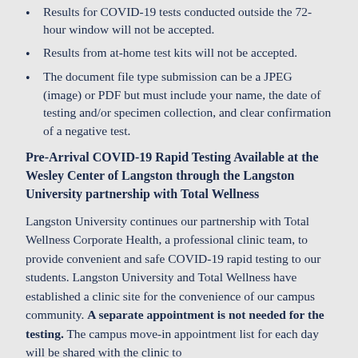Results for COVID-19 tests conducted outside the 72-hour window will not be accepted.
Results from at-home test kits will not be accepted.
The document file type submission can be a JPEG (image) or PDF but must include your name, the date of testing and/or specimen collection, and clear confirmation of a negative test.
Pre-Arrival COVID-19 Rapid Testing Available at the Wesley Center of Langston through the Langston University partnership with Total Wellness
Langston University continues our partnership with Total Wellness Corporate Health, a professional clinic team, to provide convenient and safe COVID-19 rapid testing to our students. Langston University and Total Wellness have established a clinic site for the convenience of our campus community. A separate appointment is not needed for the testing. The campus move-in appointment list for each day will be shared with the clinic to